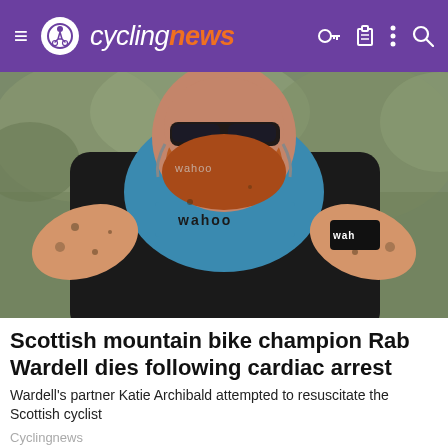cyclingnews
[Figure (photo): A red-bearded male mountain biker covered in mud, wearing a black and blue Wahoo/Le Col cycling jersey, leaning forward while riding, with a blurred forest background.]
Scottish mountain bike champion Rab Wardell dies following cardiac arrest
Wardell's partner Katie Archibald attempted to resuscitate the Scottish cyclist
Cyclingnews